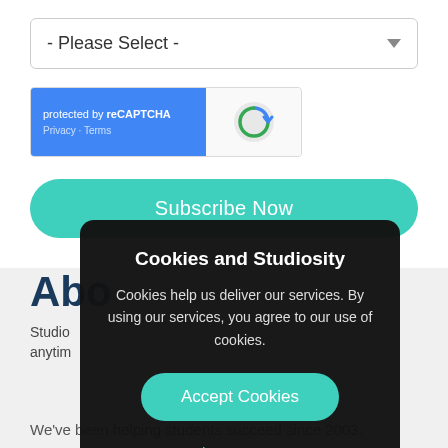[Figure (screenshot): Dropdown selector showing '- Please Select -' with arrow indicator]
[Figure (screenshot): reCAPTCHA widget with blue left panel showing 'protected by reCAPTCHA' and Privacy/Terms links, and Google reCAPTCHA logo on right]
[Figure (screenshot): Teal 'Subscribe Now' button with rounded corners]
Abo
Studio
anytim
We've been helping students succeed since 2003.
Cookies and Studiosity
Cookies help us deliver our services. By using our services, you agree to our use of cookies.
[Figure (screenshot): Teal 'Accept Cookies' button with rounded corners]
Learn more